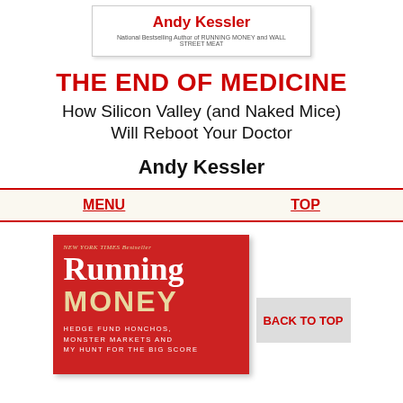[Figure (illustration): Author card with 'Andy Kessler' in red bold text and subtitle 'National Bestselling Author of RUNNING MONEY and WALL STREET MEAT']
THE END OF MEDICINE
How Silicon Valley (and Naked Mice) Will Reboot Your Doctor
Andy Kessler
MENU   TOP
[Figure (illustration): Book cover for 'Running MONEY' by Andy Kessler with red background, subtitle 'HEDGE FUND HONCHOS, MONSTER MARKETS AND MY HUNT FOR THE BIG SCORE']
BACK TO TOP